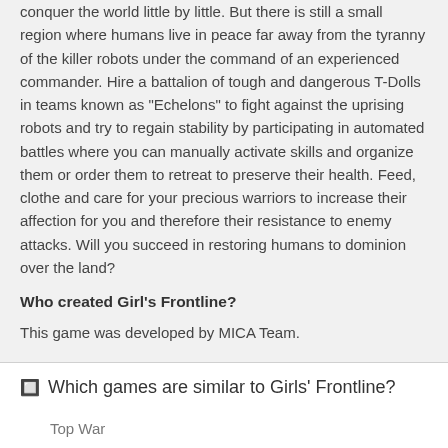conquer the world little by little. But there is still a small region where humans live in peace far away from the tyranny of the killer robots under the command of an experienced commander. Hire a battalion of tough and dangerous T-Dolls in teams known as "Echelons" to fight against the uprising robots and try to regain stability by participating in automated battles where you can manually activate skills and organize them or order them to retreat to preserve their health. Feed, clothe and care for your precious warriors to increase their affection for you and therefore their resistance to enemy attacks. Will you succeed in restoring humans to dominion over the land?
Who created Girl's Frontline?
This game was developed by MICA Team.
Which games are similar to Girls' Frontline?
Top War
Stickman Army Team Battle
State of Survival
Star Wars: Galaxy of Heroes